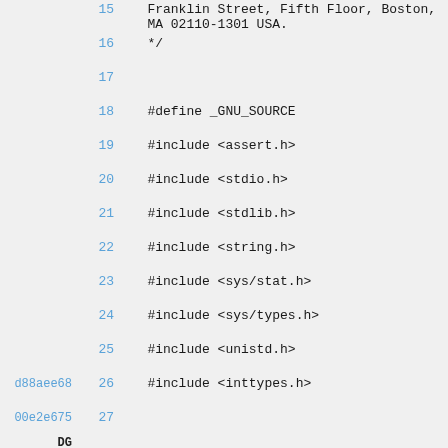15    Franklin Street, Fifth Floor, Boston, MA 02110-1301 USA.
16    */
17
18    #define _GNU_SOURCE
19    #include <assert.h>
20    #include <stdio.h>
21    #include <stdlib.h>
22    #include <string.h>
23    #include <sys/stat.h>
24    #include <sys/types.h>
25    #include <unistd.h>
d88aee68  26    #include <inttypes.h>
00e2e675  27
DG
28    #include <common/common.h>
29    #include <common/defaults.h>